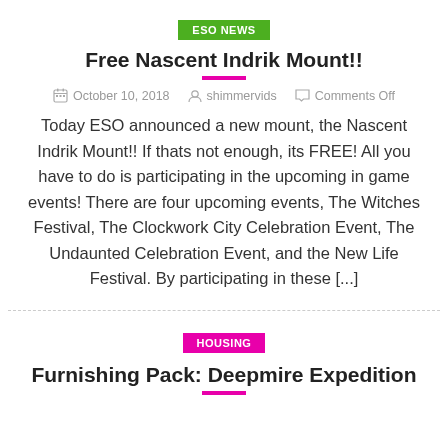ESO NEWS
Free Nascent Indrik Mount!!
October 10, 2018   shimmervids   Comments Off
Today ESO announced a new mount, the Nascent Indrik Mount!! If thats not enough, its FREE!  All you have to do is participating in the upcoming in game events! There are four upcoming events, The Witches Festival, The Clockwork City Celebration Event, The Undaunted Celebration Event, and the New Life Festival.  By participating in these [...]
HOUSING
Furnishing Pack: Deepmire Expedition